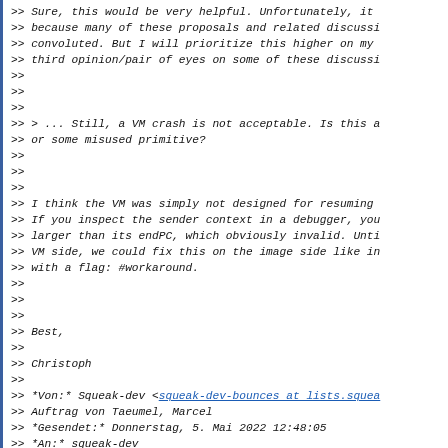>> Sure, this would be very helpful. Unfortunately, it
>> because many of these proposals and related discussi
>> convoluted. But I will prioritize this higher on my
>> third opinion/pair of eyes on some of these discussi
>>
>>
>>
>> > ... Still, a VM crash is not acceptable. Is this a
>> or some misused primitive?
>>
>>
>>
>> I think the VM was simply not designed for resuming
>> If you inspect the sender context in a debugger, you
>> larger than its endPC, which obviously invalid. Unti
>> VM side, we could fix this on the image side like in
>> with a flag: #workaround.
>>
>>
>>
>> Best,
>>
>> Christoph
>>
>> *Von:* Squeak-dev <squeak-dev-bounces at lists.squea
>> Auftrag von Taeumel, Marcel
>> *Gesendet:* Donnerstag, 5. Mai 2022 12:48:05
>> *An:* squeak-dev
>> *Betreff:* Re: [squeak-dev] SIGTRAP when Proceeding
>> BlockCannotReturn